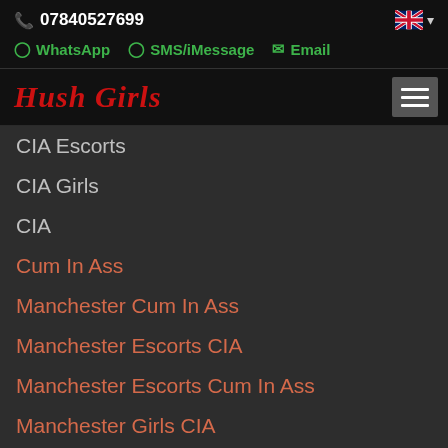07840527699
WhatsApp  SMS/iMessage  Email
Hush Girls
CIA Escorts
CIA Girls
CIA
Cum In Ass
Manchester Cum In Ass
Manchester Escorts CIA
Manchester Escorts Cum In Ass
Manchester Girls CIA
Manchester Girls Cum In Ass
CIB - Cum In Butt